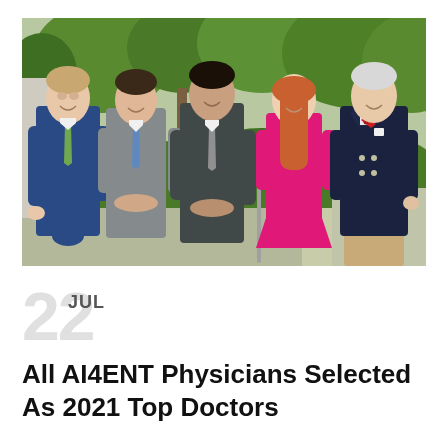[Figure (photo): Group photo of five physicians (four men, one woman) standing outdoors in front of green trees and hedges. From left: man in blue suit with green tie, man in gray suit with blue tie, man in dark gray suit with gray tie, woman in bright pink sleeveless dress, older man in dark navy double-breasted blazer with red bow tie and khaki trousers.]
22 JUL
All AI4ENT Physicians Selected As 2021 Top Doctors